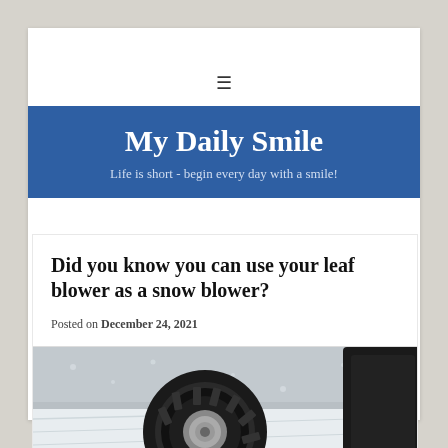☰
My Daily Smile
Life is short - begin every day with a smile!
Did you know you can use your leaf blower as a snow blower?
Posted on December 24, 2021
[Figure (photo): Close-up of a car tire in snow, black and white/desaturated image showing tire tread and snowy ground]